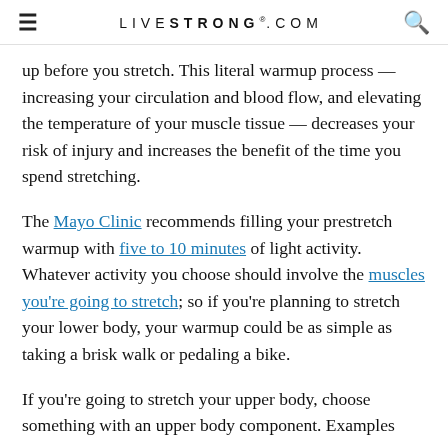LIVESTRONG.COM
up before you stretch. This literal warmup process — increasing your circulation and blood flow, and elevating the temperature of your muscle tissue — decreases your risk of injury and increases the benefit of the time you spend stretching.
The Mayo Clinic recommends filling your prestretch warmup with five to 10 minutes of light activity. Whatever activity you choose should involve the muscles you're going to stretch; so if you're planning to stretch your lower body, your warmup could be as simple as taking a brisk walk or pedaling a bike.
If you're going to stretch your upper body, choose something with an upper body component. Examples